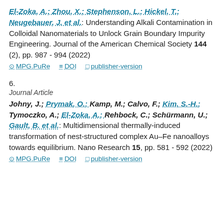El-Zoka, A.; Zhou, X.; Stephenson, L.; Hickel, T.; Neugebauer, J. et al.: Understanding Alkali Contamination in Colloidal Nanomaterials to Unlock Grain Boundary Impurity Engineering. Journal of the American Chemical Society 144 (2), pp. 987 - 994 (2022)
MPG.PuRe   DOI   publisher-version
6.
Journal Article
Johny, J.; Prymak, O.; Kamp, M.; Calvo, F.; Kim, S.-H.; Tymoczko, A.; El-Zoka, A.; Rehbock, C.; Schürmann, U.; Gault, B. et al.: Multidimensional thermally-induced transformation of nest-structured complex Au–Fe nanoalloys towards equilibrium. Nano Research 15, pp. 581 - 592 (2022)
MPG.PuRe   DOI   publisher-version